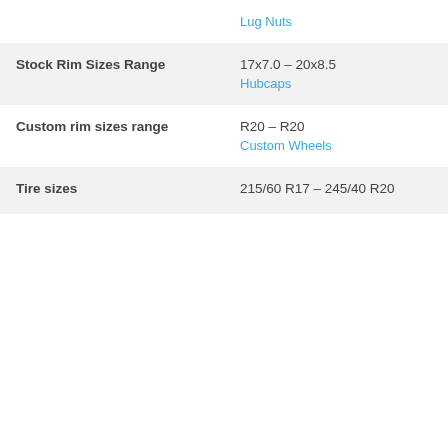| Property | Value |
| --- | --- |
|  | Lug Nuts |
| Stock Rim Sizes Range | 17x7.0 – 20x8.5
Hubcaps |
| Custom rim sizes range | R20 – R20
Custom Wheels |
| Tire sizes | 215/60 R17 – 245/40 R20 |